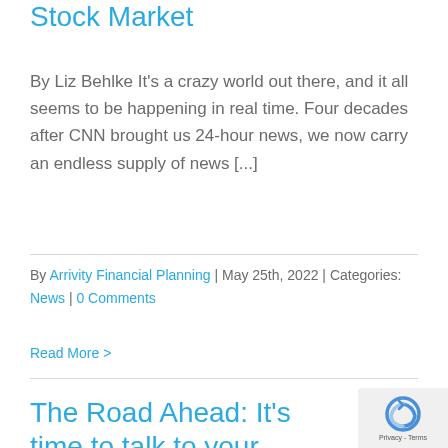Stock Market
By Liz Behlke It's a crazy world out there, and it all seems to be happening in real time. Four decades after CNN brought us 24-hour news, we now carry an endless supply of news [...]
By Arrivity Financial Planning | May 25th, 2022 | Categories: News | 0 Comments
Read More >
The Road Ahead: It's time to talk to your parents